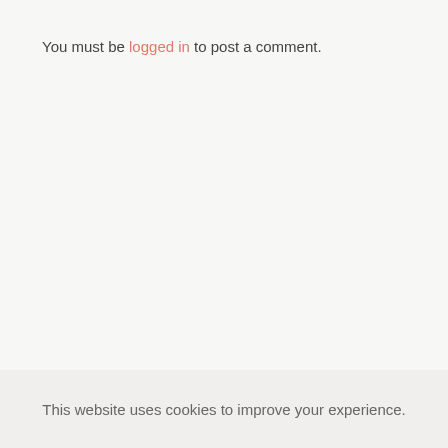You must be logged in to post a comment.
This website uses cookies to improve your experience.